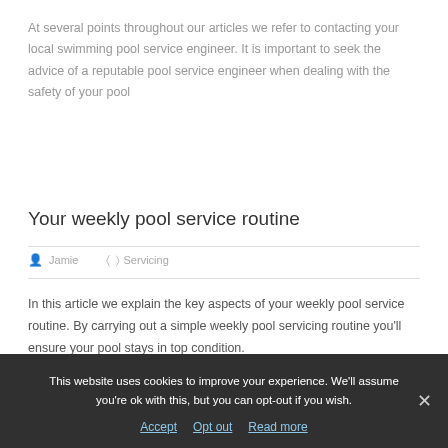At several points throughout our articles we refer to contacting your local swimming pool service engineer. It is important to seek the advice of a reputable pool service engineer when dealing with the safety of your pool
Your weekly pool service routine
Jamie   Servicing
In this article we explain the key aspects of your weekly pool service routine. By carrying out a simple weekly pool servicing routine you'll ensure your pool stays in top condition.
This website uses cookies to improve your experience. We'll assume you're ok with this, but you can opt-out if you wish.
Accept   Opt out   Read more